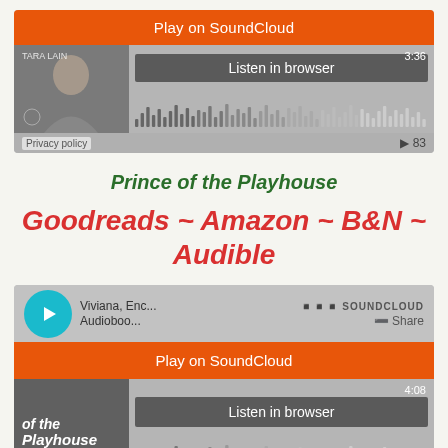[Figure (screenshot): SoundCloud embedded player widget showing Play on SoundCloud button, Listen in browser button, waveform, time 3:36, play count 83, Privacy policy link]
Prince of the Playhouse
Goodreads ~ Amazon ~ B&N ~ Audible
[Figure (screenshot): SoundCloud embedded player widget for Prince of the Playhouse audiobook by Tara Lain showing Play on SoundCloud button, Listen in browser button, waveform, time 4:08, play count 71, Privacy policy link]